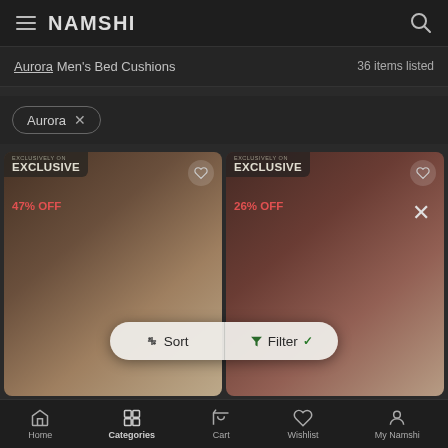NAMSHI
Aurora Men's Bed Cushions — 36 items listed
Aurora ×
[Figure (screenshot): Product card 1: EXCLUSIVE badge, 47% OFF, bed cushion product image on red/beige background]
[Figure (screenshot): Product card 2: EXCLUSIVE badge, 26% OFF, bed cushion product image on red/beige background]
Sort   Filter ✓
Home   Categories   Cart   Wishlist   My Namshi